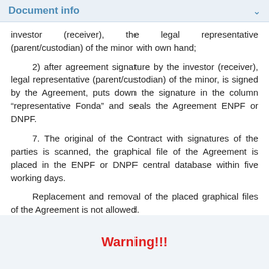Document info
investor (receiver), the legal representative (parent/custodian) of the minor with own hand;
2) after agreement signature by the investor (receiver), legal representative (parent/custodian) of the minor, is signed by the Agreement, puts down the signature in the column "representative Fonda" and seals the Agreement ENPF or DNPF.
7. The original of the Contract with signatures of the parties is scanned, the graphical file of the Agreement is placed in the ENPF or DNPF central database within five working days.
Replacement and removal of the placed graphical files of the Agreement is not allowed.
Warning!!!